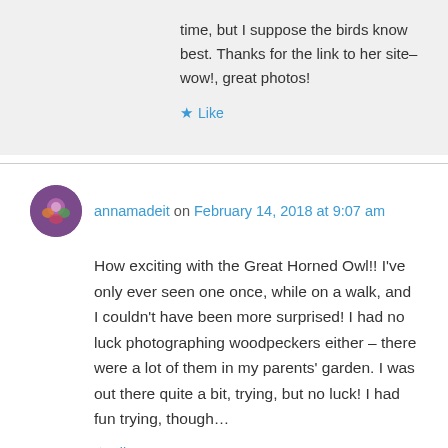time, but I suppose the birds know best. Thanks for the link to her site– wow!, great photos!
Like
annamadeit on February 14, 2018 at 9:07 am
How exciting with the Great Horned Owl!! I've only ever seen one once, while on a walk, and I couldn't have been more surprised! I had no luck photographing woodpeckers either – there were a lot of them in my parents' garden. I was out there quite a bit, trying, but no luck! I had fun trying, though…
Like